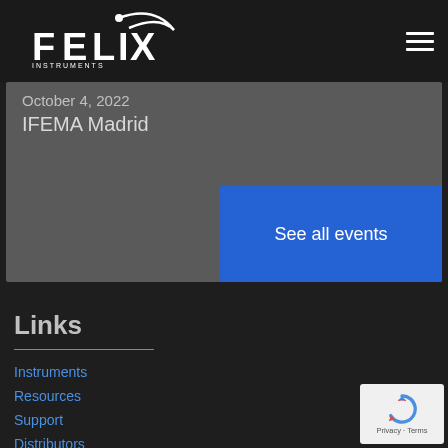[Figure (logo): Felix Instruments - Applied Food Science logo, white text on dark background]
October 4, 2022
IFEMA Madrid
See all events
Links
Instruments
Resources
Support
Distributors
[Figure (logo): Google reCAPTCHA badge with Privacy and Terms text]